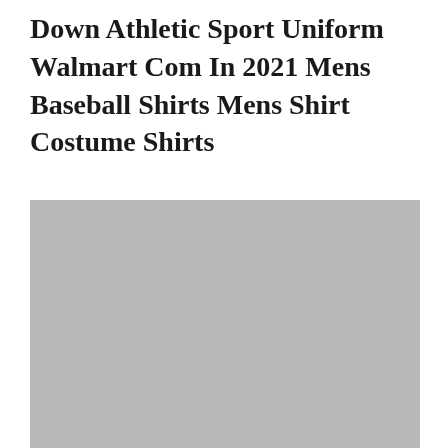Down Athletic Sport Uniform Walmart Com In 2021 Mens Baseball Shirts Mens Shirt Costume Shirts
[Figure (photo): A large grey placeholder image block, representing a product photo of athletic/baseball shirts.]